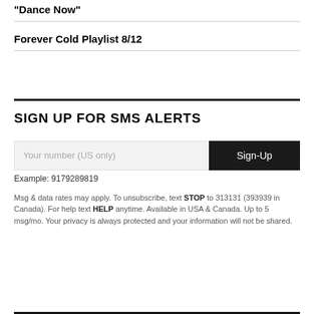“Dance Now”
Forever Cold Playlist 8/12
SIGN UP FOR SMS ALERTS
Your number (US only)
Sign-Up
Example: 9179289819
Msg & data rates may apply. To unsubscribe, text STOP to 313131 (393939 in Canada). For help text HELP anytime. Available in USA & Canada. Up to 5 msg/mo. Your privacy is always protected and your information will not be shared.